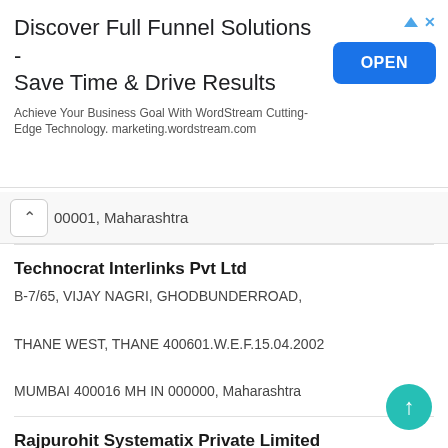[Figure (screenshot): Ad banner: Discover Full Funnel Solutions - Save Time & Drive Results. Achieve Your Business Goal With WordStream Cutting-Edge Technology. marketing.wordstream.com. Blue OPEN button.]
00001, Maharashtra
Technocrat Interlinks Pvt Ltd
B-7/65, VIJAY NAGRI, GHODBUNDERROAD,
THANE WEST, THANE 400601.W.E.F.15.04.2002
MUMBAI 400016 MH IN 000000, Maharashtra
Rajpurohit Systematix Private Limited
C P E LOTS B S D MARG NOORARORA PLASTICS
GOVANDI MUMBAI MH IN 400088,
Maharashtra